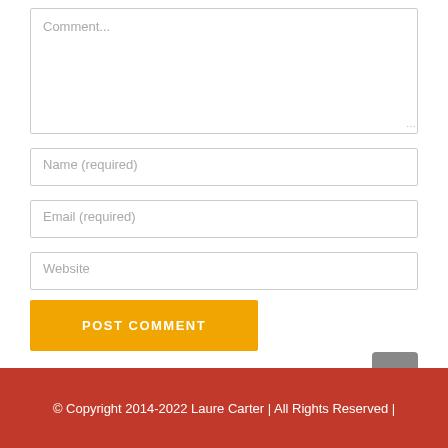[Figure (screenshot): Comment text area input field with placeholder text 'Comment...' and resize handle]
[Figure (screenshot): Name (required) input field]
[Figure (screenshot): Email (required) input field]
[Figure (screenshot): Website input field]
[Figure (screenshot): POST COMMENT button in orange/amber color]
© Copyright 2014-2022 Laure Carter | All Rights Reserved |